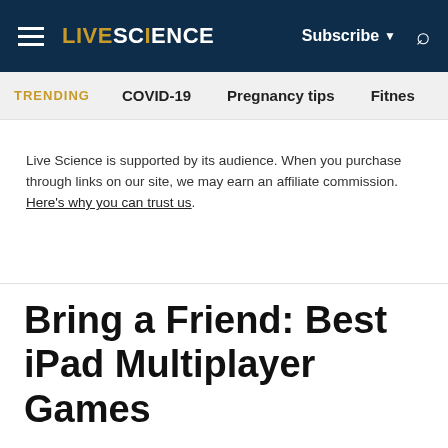LIVE SCIENCE | Subscribe | Search
TRENDING  COVID-19  Pregnancy tips  Fitnes
Live Science is supported by its audience. When you purchase through links on our site, we may earn an affiliate commission. Here's why you can trust us.
Bring a Friend: Best iPad Multiplayer Games